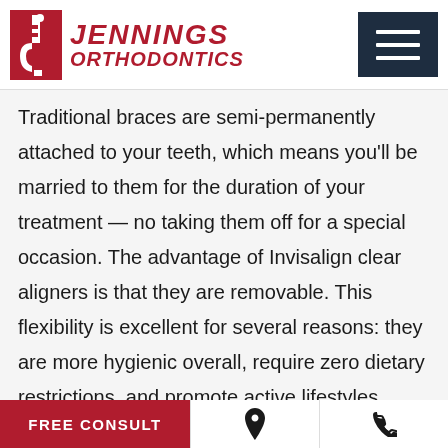[Figure (logo): Jennings Orthodontics logo with stylized red 'j' spine icon and red italic text 'JENNINGS ORTHODONTICS']
Traditional braces are semi-permanently attached to your teeth, which means you'll be married to them for the duration of your treatment — no taking them off for a special occasion. The advantage of Invisalign clear aligners is that they are removable. This flexibility is excellent for several reasons: they are more hygienic overall, require zero dietary restrictions, and promote active lifestyles.
FREE CONSULT | [location icon] | [phone icon]